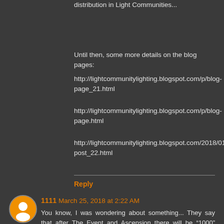distribution in Light Communities...
Until then, some more details on the blog pages:
http://lightcommunitylighting.blogspot.com/p/blog-page_21.html
http://lightcommunitylighting.blogspot.com/p/blog-page.html
http://lightcommunitylighting.blogspot.com/2018/01/blog-post_22.html
Reply
1111 March 25, 2018 at 2:22 AM
You know, I was wondering about something... They say that after The Event and Ascension there will be “1000” years of peace embodied as The Golden Age. Why only